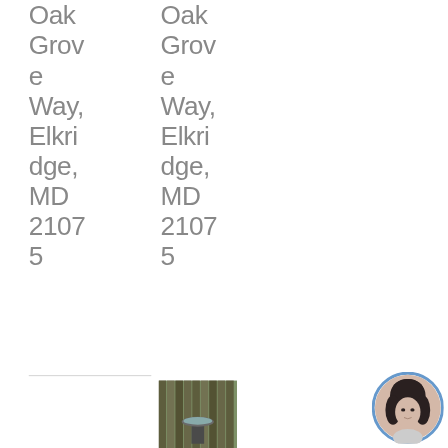Oak Grove Way, Elkridge, MD 21075
Oak Grove Way, Elkridge, MD 21075
[Figure (photo): Outdoor photo of what appears to be a birdbath or garden fountain surrounded by wooden fence slats]
[Figure (photo): Circular avatar photo of a woman with dark hair against a light background, with a blue circular border]